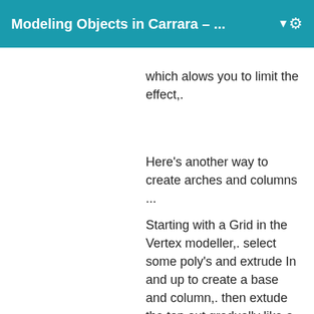Modeling Objects in Carrara – ...
which alows you to limit the effect,.
Here's another way to create arches and columns ...
Starting with a Grid in the Vertex modeller,. select some poly's and extrude In and up to create a base and column,. then extude the top out gradually like a cone,. once you've got that arched shape,. you can connect the top edges to form a roof. ... pic